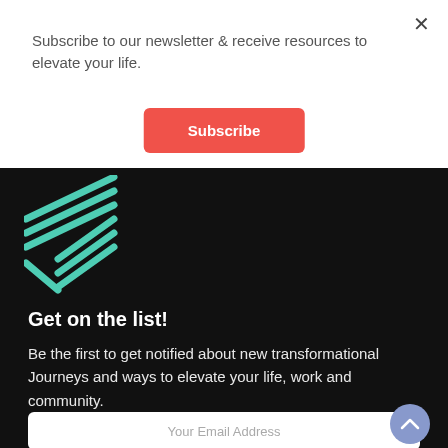Subscribe to our newsletter & receive resources to elevate your life.
[Figure (other): Red Subscribe button]
[Figure (logo): Teal diagonal lines/pencil logo on black background]
Get on the list!
Be the first to get notified about new transformational Journeys and ways to elevate your life, work and community.
Your Email Address